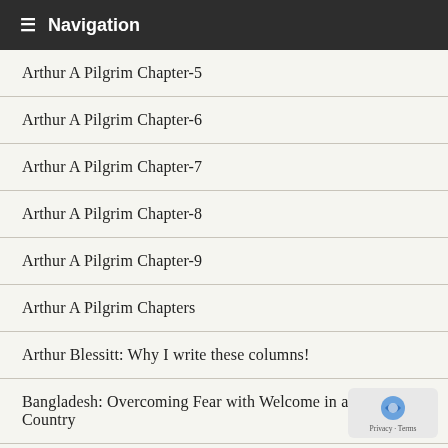Navigation
Arthur A Pilgrim Chapter-5
Arthur A Pilgrim Chapter-6
Arthur A Pilgrim Chapter-7
Arthur A Pilgrim Chapter-8
Arthur A Pilgrim Chapter-9
Arthur A Pilgrim Chapters
Arthur Blessitt: Why I write these columns!
Bangladesh: Overcoming Fear with Welcome in a Muslim Country